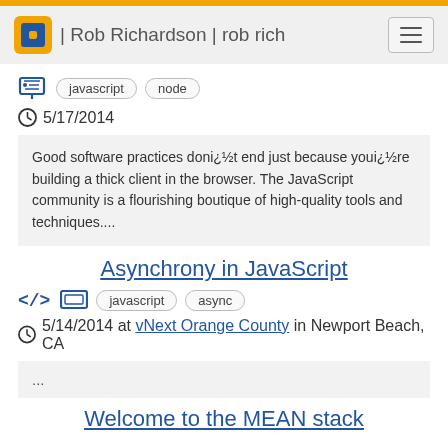| Rob Richardson | rob rich
javascript  node
5/17/2014
Good software practices doni¿½t end just because youi¿½re building a thick client in the browser. The JavaScript community is a flourishing boutique of high-quality tools and techniques....
Asynchrony in JavaScript
javascript  async
5/14/2014 at vNext Orange County in Newport Beach, CA
...
Welcome to the MEAN stack